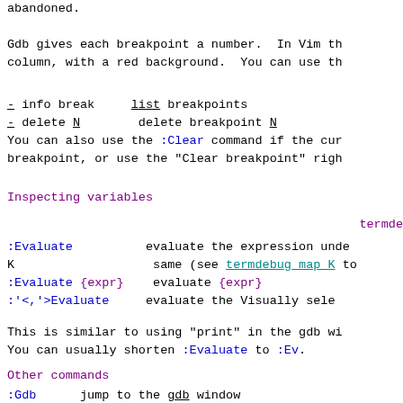abandoned.
Gdb gives each breakpoint a number.  In Vim th
column, with a red background.  You can use th
- info break      list breakpoints
- delete N        delete breakpoint N
You can also use the :Clear command if the cur
breakpoint, or use the "Clear breakpoint" righ
Inspecting variables
termde
:Evaluate          evaluate the expression unde
K                  same (see termdebug_map_K to
:Evaluate {expr}   evaluate {expr}
:'<,'>Evaluate     evaluate the Visually sele
This is similar to using "print" in the gdb wi
You can usually shorten :Evaluate to :Ev.
Other commands
:Gdb       jump to the gdb window
:Program   jump to the window with the runni